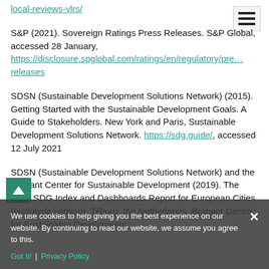local-reviews-vlrs/ [link, truncated from previous entry]
S&P (2021). Sovereign Ratings Press Releases. S&P Global, accessed 28 January, https://disclosure.spglobal.com/ratings/en/regulatory/press-releases
SDSN (Sustainable Development Solutions Network) (2015). Getting Started with the Sustainable Development Goals. A Guide to Stakeholders. New York and Paris, Sustainable Development Solutions Network. https://sdg.guide/, accessed 12 July 2021
SDSN (Sustainable Development Solutions Network) and the Brabant Center for Sustainable Development (2019). The 2019 SDG Index and Dashboards Report for European Cities (prototype version). Tilburg, the Netherlands, Brabant Centre for Sustainable Development